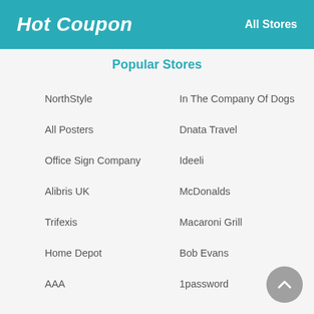Hot Coupon   All Stores
Popular Stores
NorthStyle
In The Company Of Dogs
All Posters
Dnata Travel
Office Sign Company
Ideeli
Alibris UK
McDonalds
Trifexis
Macaroni Grill
Home Depot
Bob Evans
AAA
1password